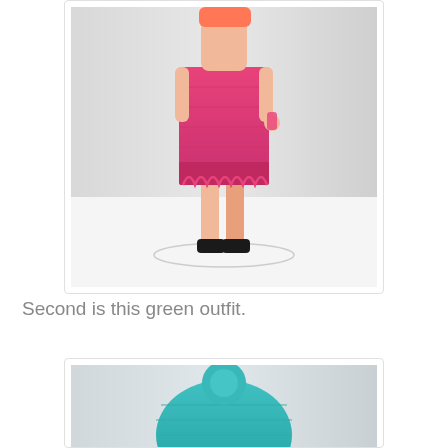[Figure (photo): A Barbie doll wearing a hot pink knitted dress with decorative lace hem pattern. The doll stands on a white round stand against a light gray background. The doll wears black flat shoes.]
Second is this green outfit.
[Figure (photo): Partial view of a Barbie doll wearing a teal/green knitted outfit, only the top portion visible.]